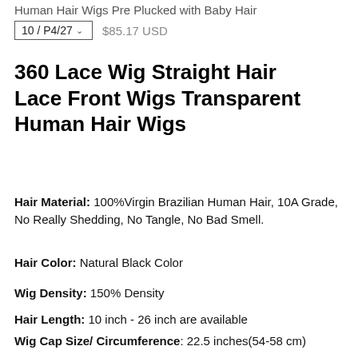Human Hair Wigs Pre Plucked with Baby Hair
10 / P4/27   $85.17 USD
360 Lace Wig Straight Hair Lace Front Wigs Transparent Human Hair Wigs
Hair Material: 100%Virgin Brazilian Human Hair, 10A Grade, No Really Shedding, No Tangle, No Bad Smell.
Hair Color: Natural Black Color
Wig Density: 150% Density
Hair Length: 10 inch - 26 inch are available
Wig Cap Size/ Circumference: 22.5 inches(54-58 cm)